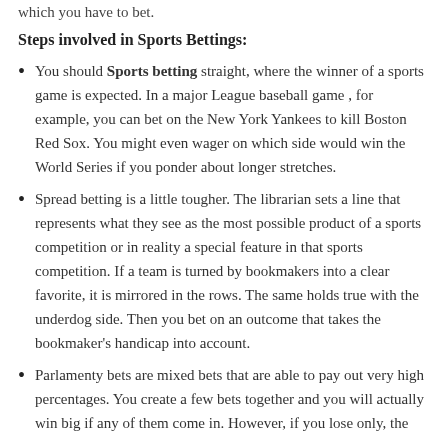which you have to bet.
Steps involved in Sports Bettings:
You should Sports betting straight, where the winner of a sports game is expected. In a major League baseball game , for example, you can bet on the New York Yankees to kill Boston Red Sox. You might even wager on which side would win the World Series if you ponder about longer stretches.
Spread betting is a little tougher. The librarian sets a line that represents what they see as the most possible product of a sports competition or in reality a special feature in that sports competition. If a team is turned by bookmakers into a clear favorite, it is mirrored in the rows. The same holds true with the underdog side. Then you bet on an outcome that takes the bookmaker's handicap into account.
Parlamenty bets are mixed bets that are able to pay out very high percentages. You create a few bets together and you will actually win big if any of them come in. However, if you lose only, the